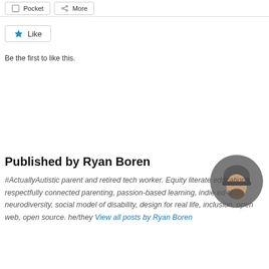[Figure (other): Social share buttons row: Pocket and More]
[Figure (other): Like button with star icon]
Be the first to like this.
Published by Ryan Boren
[Figure (photo): Circular profile photo of Ryan Boren wearing a grey beanie hat]
#ActuallyAutistic parent and retired tech worker. Equity literate education, respectfully connected parenting, passion-based learning, indie ed-tech, neurodiversity, social model of disability, design for real life, inclusion, open web, open source. he/they View all posts by Ryan Boren